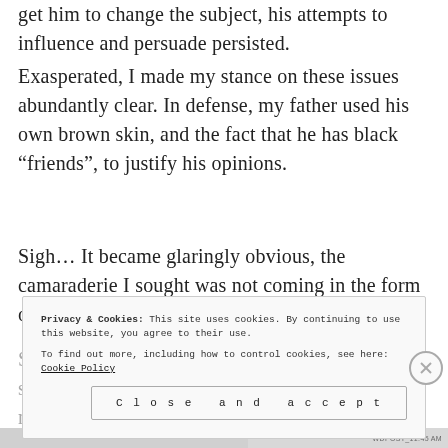get him to change the subject, his attempts to influence and persuade persisted.
Exasperated, I made my stance on these issues abundantly clear. In defense, my father used his own brown skin, and the fact that he has black “friends”, to justify his opinions.
Sigh… It became glaringly obvious, the camaraderie I sought was not coming in the form of my father.
S s m
[Figure (screenshot): Cookie consent banner overlay with text: 'Privacy & Cookies: This site uses cookies. By continuing to use this website, you agree to their use. To find out more, including how to control cookies, see here: Cookie Policy' and a 'Close and accept' button.]
WDPOST_11:45 AM